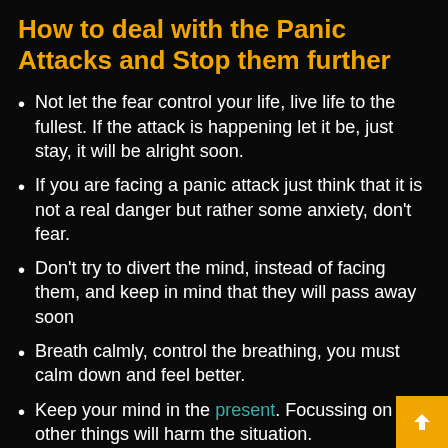How to deal with the Panic Attacks and Stop them further
Not let the fear control your life, live life to the fullest. If the attack is happening let it be, just stay, it will be alright soon.
If you are facing a panic attack just think that it is not a real danger but rather some anxiety, don't fear.
Don't try to divert the mind, instead of facing them, and keep in mind that they will pass away soon
Breath calmly, control the breathing, you must calm down and feel better.
Keep your mind in the present. Focussing on other things will harm the situation.
You have to check why the panic attack is occurring